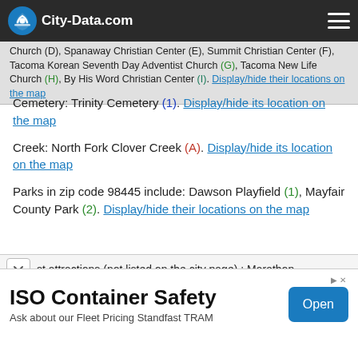City-Data.com
Church (D), Spanaway Christian Center (E), Summit Christian Center (F), Tacoma Korean Seventh Day Adventist Church (G), Tacoma New Life Church (H), By His Word Christian Center (I). Display/hide their locations on the map
Cemetery: Trinity Cemetery (1). Display/hide its location on the map
Creek: North Fork Clover Creek (A). Display/hide its location on the map
Parks in zip code 98445 include: Dawson Playfield (1), Mayfair County Park (2). Display/hide their locations on the map
st attractions (not listed on the city page) : Marathon
[Figure (other): ISO Container Safety advertisement banner with Open button]